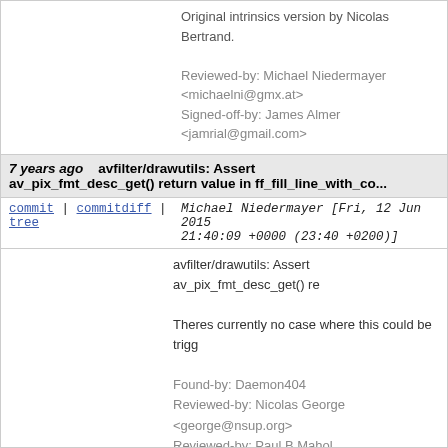Original intrinsics version by Nicolas Bertrand.

Reviewed-by: Michael Niedermayer <michaelni@gmx.at>
Signed-off-by: James Almer <jamrial@gmail.com>
7 years ago   avfilter/drawutils: Assert av_pix_fmt_desc_get() return value in ff_fill_line_with_co...
commit | commitdiff | tree   Michael Niedermayer [Fri, 12 Jun 2015 21:40:09 +0000 (23:40 +0200)]
avfilter/drawutils: Assert av_pix_fmt_desc_get() re

Theres currently no case where this could be trigg

Found-by: Daemon404
Reviewed-by: Nicolas George <george@nsup.org>
Reviewed-by: Paul B Mahol <onemda@gmail.com>
Signed-off-by: Michael Niedermayer <michaelni@gmx.at>
7 years ago   avfilter/lut3d: assert on pixel format descriptor
commit | commitdiff | tree   Clément Bœsch [Sat, 13 Jun 2015 18:49:42 +0000 (20:49 +0200)]